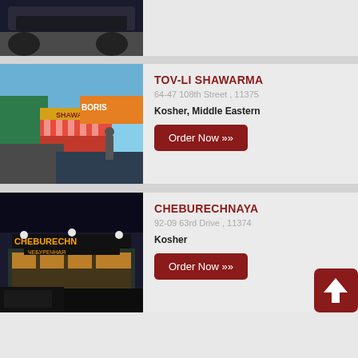[Figure (photo): Partial view of a dark vehicle on a street, top of a listing card cropped at the top of the page]
[Figure (photo): Street-facing photo of Tov-Li Shawarma restaurant with Shawarma and Boris signs visible]
TOV-LI SHAWARMA
64-47 108th Street , 11375
Kosher, Middle Eastern
Order Now »
[Figure (photo): Night photo of Cheburechanaya restaurant with illuminated sign reading CHEBURECHANAYA and Cyrillic text]
CHEBURECHNAYA
92-09 63rd Drive , 11374
Kosher
Order Now »